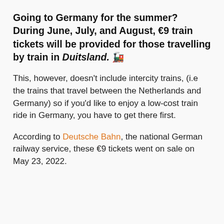Going to Germany for the summer? During June, July, and August, €9 train tickets will be provided for those travelling by train in Duitsland. 🚂
This, however, doesn't include intercity trains, (i.e the trains that travel between the Netherlands and Germany) so if you'd like to enjoy a low-cost train ride in Germany, you have to get there first.
According to Deutsche Bahn, the national German railway service, these €9 tickets went on sale on May 23, 2022.